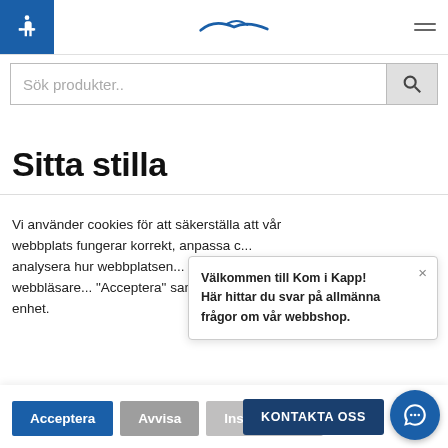[Figure (screenshot): Website header with blue accessibility icon, logo with bird/wings motif, hamburger menu icon]
[Figure (screenshot): Search bar with placeholder text 'Sök produkter..' and a search button with magnifying glass icon]
Sitta stilla
Vi använder cookies för att säkerställa att vår webbplats fungerar korrekt, anpassa c... analysera hur webbplatsen... som lagras i din webbläsare... "Acceptera" samtycker du t... enhet.
[Figure (screenshot): Cookie consent popup with Acceptera, Avvisa, Installningar buttons]
Välkommen till Kom i Kapp!
Här hittar du svar på allmänna frågor om vår webbshop.
[Figure (screenshot): Kontakta oss button and blue chat circle button]